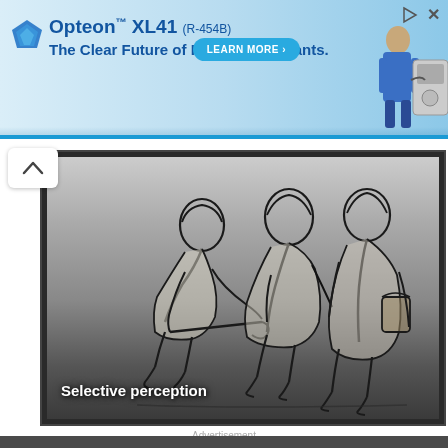[Figure (illustration): Advertisement banner for Opteon XL41 (R-454B) HVAC refrigerant with blue gradient background, brand logo gem, tagline 'The Clear Future of HVAC Refrigerants.', a teal 'LEARN MORE' button, and an illustration of a technician with HVAC equipment on the right. Play and close icons appear top-right.]
[Figure (illustration): Video thumbnail with gradient gray background showing a line-art illustration of two elderly or hunched figures working with tools, with text overlay 'Selective perception' in white bold text at the bottom-left.]
Advertisement